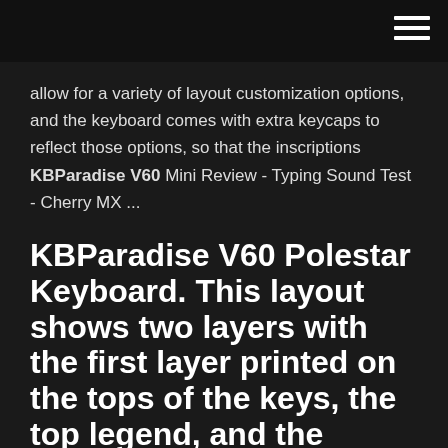allow for a variety of layout customization options, and the keyboard comes with extra keycaps to reflect those options, so that the inscriptions KBParadise V60 Mini Review - Typing Sound Test - Cherry MX ...
KBParadise V60 Polestar Keyboard. This layout shows two layers with the first layer printed on the tops of the keys, the top legend, and the second layer on the front.
Party Poker shows life by edging out PokerStars in the under $7 tournament rake category by one percentage